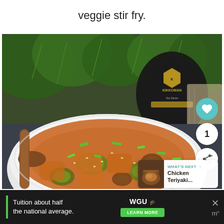veggie stir fry.
[Figure (photo): A white bowl of veggie stir fry with zucchini, mushrooms, tofu, green onions, and sesame seeds in a orange-brown sauce, with a wooden spoon on the left and a Kikkoman Soy Sauce bottle in the background, surrounded by fresh herbs. UI overlays include a teal heart icon, a share icon, and a 'What's Next: Chicken Teriyaki...' card.]
WHAT'S NEXT → Chicken Teriyaki...
Tuition about half the national average.
WGU LEARN MORE